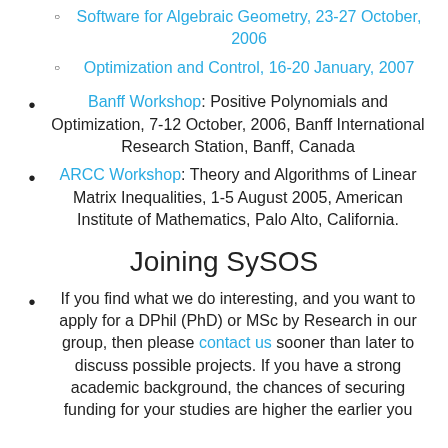Software for Algebraic Geometry, 23-27 October, 2006
Optimization and Control, 16-20 January, 2007
Banff Workshop: Positive Polynomials and Optimization, 7-12 October, 2006, Banff International Research Station, Banff, Canada
ARCC Workshop: Theory and Algorithms of Linear Matrix Inequalities, 1-5 August 2005, American Institute of Mathematics, Palo Alto, California.
Joining SySOS
If you find what we do interesting, and you want to apply for a DPhil (PhD) or MSc by Research in our group, then please contact us sooner than later to discuss possible projects. If you have a strong academic background, the chances of securing funding for your studies are higher the earlier you